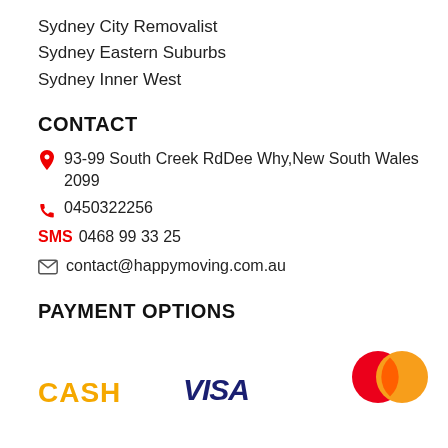Sydney City Removalist
Sydney Eastern Suburbs
Sydney Inner West
CONTACT
📍 93-99 South Creek RdDee Why,New South Wales 2099
📞 0450322256
SMS 0468 99 33 25
✉ contact@happymoving.com.au
PAYMENT OPTIONS
[Figure (logo): Payment method logos: CASH, VISA, Mastercard]